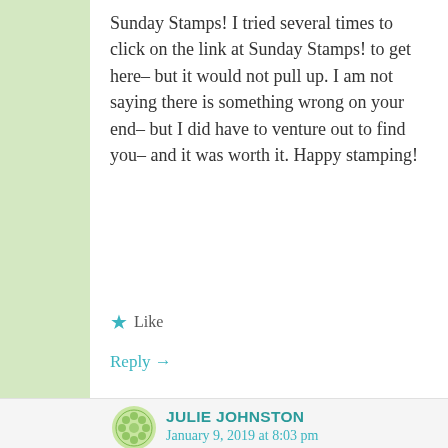Sunday Stamps! I tried several times to click on the link at Sunday Stamps! to get here– but it would not pull up. I am not saying there is something wrong on your end– but I did have to venture out to find you– and it was worth it. Happy stamping!
★ Like
Reply →
JULIE JOHNSTON
January 9, 2019 at 8:03 pm
Thank you Annette. I will look into the link issue. I don't know what is going on. My link for our Thursday Blog hop (tomorrow) disappeared after I had